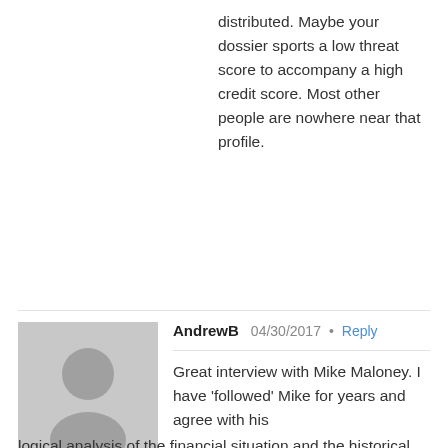distributed. Maybe your dossier sports a low threat score to accompany a high credit score. Most other people are nowhere near that profile.
AndrewB  04/30/2017 • Reply
Great interview with Mike Maloney. I have 'followed' Mike for years and agree with his logical analysis of the financial situation and the historical role of gold and silver as real money – as opposed to fiat currency. That being said, the 'great vampire squid' encircling the world has no time for fundamentals, financial logic, or historical values. Like all autocrats, it has become paranoid that the people may rebel and remove it from power – power and influence which has taken hundreds of years to acquire. It's ultimate goal, therefore, is to impoverish people to the point of enslavement – so they have no means to rebel even when, collectively, they eventually (WHAT WILL IT TAKE?) wake up. In light of this, Mike's predictions, and those of other intelligent and well-meaning